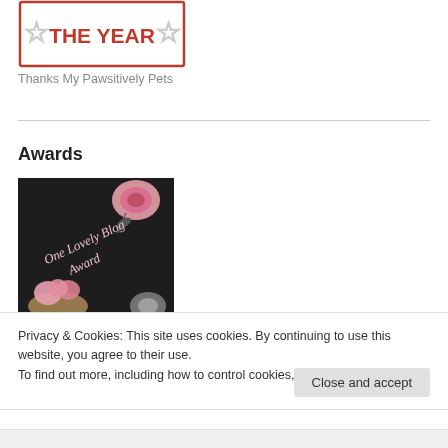[Figure (illustration): A badge image showing 'THE YEAR' text in red with star icons on either side, inside a rectangular border]
Thanks My Pawsitively Pets
Awards
[Figure (illustration): One Lovely Blog Award image: dark textured background with pink roses and text 'One Lovely Blog Award' in decorative script]
Privacy & Cookies: This site uses cookies. By continuing to use this website, you agree to their use.
To find out more, including how to control cookies, see here: Cookie Policy
Close and accept